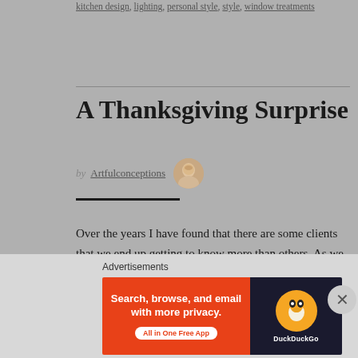kitchen design, lighting, personal style, style, window treatments
A Thanksgiving Surprise
by Artfulconceptions
Over the years I have found that there are some clients that we end up getting to know more than others. As we get to know them life happens and that sometimes means great things and sometimes difficult things. This year I met an amazing family that I had the pleasure of designing their new
Advertisements
[Figure (screenshot): DuckDuckGo advertisement banner: orange left panel with text 'Search, browse, and email with more privacy. All in One Free App', dark right panel with DuckDuckGo duck logo]